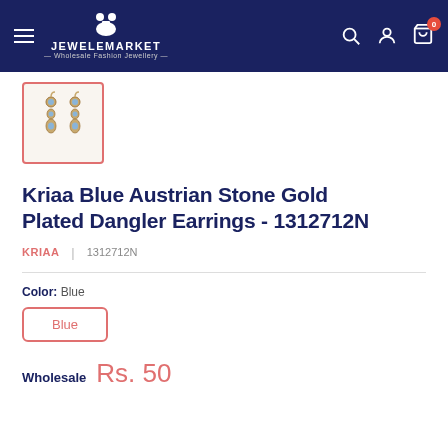JEWELEMARKET — Wholesale Fashion Jewellery
[Figure (photo): Small thumbnail image of gold dangler earrings with blue stones]
Kriaa Blue Austrian Stone Gold Plated Dangler Earrings - 1312712N
KRIAA | 1312712N
Color: Blue
Blue
Wholesale Rs. 50